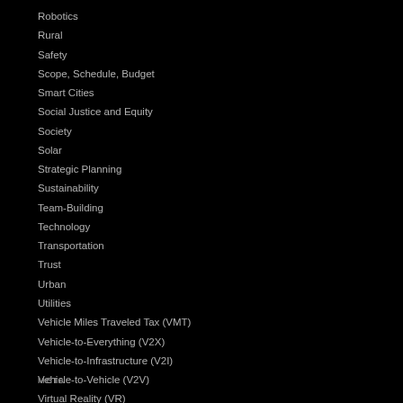Robotics
Rural
Safety
Scope, Schedule, Budget
Smart Cities
Social Justice and Equity
Society
Solar
Strategic Planning
Sustainability
Team-Building
Technology
Transportation
Trust
Urban
Utilities
Vehicle Miles Traveled Tax (VMT)
Vehicle-to-Everything (V2X)
Vehicle-to-Infrastructure (V2I)
Vehicle-to-Vehicle (V2V)
Virtual Reality (VR)
META